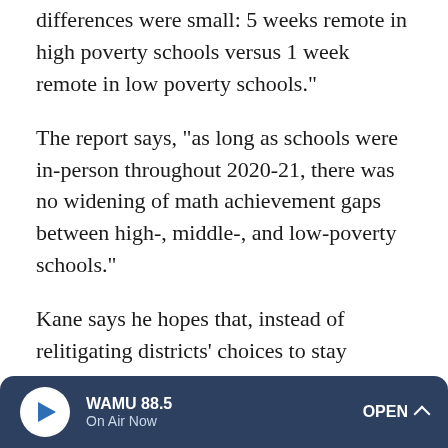differences were small: 5 weeks remote in high poverty schools versus 1 week remote in low poverty schools."
The report says, "as long as schools were in-person throughout 2020-21, there was no widening of math achievement gaps between high-, middle-, and low-poverty schools."
Kane says he hopes that, instead of relitigating districts' choices to stay remote, politicians and educators can use this data as a call to action.
"That student achievement declined is not a surprise," Kane says. "Rather, we should think of it as a bill for a public health measure that was taken on our behalf. And it's our
WAMU 88.5 | On Air Now | OPEN